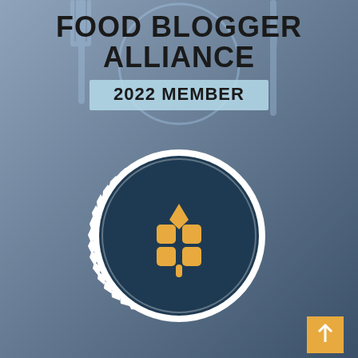[Figure (logo): Food Blogger Alliance 2022 Member badge with bottle cap logo containing a wheat/plant icon in gold on dark navy background, on a slate blue gradient background]
[Figure (illustration): Orange/gold scroll-to-top arrow button in bottom right corner]